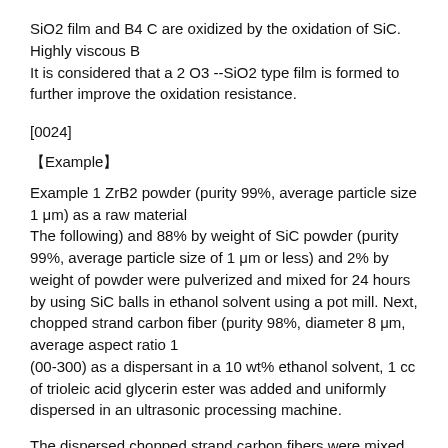SiO2 film and B4 C are oxidized by the oxidation of SiC. Highly viscous B
It is considered that a 2 O3 --SiO2 type film is formed to further improve the oxidation resistance.
[0024]
【Example】
Example 1 ZrB2 powder (purity 99%, average particle size 1 μm) as a raw material
The following) and 88% by weight of SiC powder (purity 99%, average particle size of 1 μm or less) and 2% by weight of powder were pulverized and mixed for 24 hours by using SiC balls in ethanol solvent using a pot mill. Next, chopped strand carbon fiber (purity 98%, diameter 8 μm, average aspect ratio 1
(00-300) as a dispersant in a 10 wt% ethanol solvent, 1 cc of trioleic acid glycerin ester was added and uniformly dispersed in an ultrasonic processing machine.
The dispersed chopped strand carbon fibers were mixed into the pulverized and mixed slurry and mixed by a ball mill for 2 hours. The obtained powder was dried with an